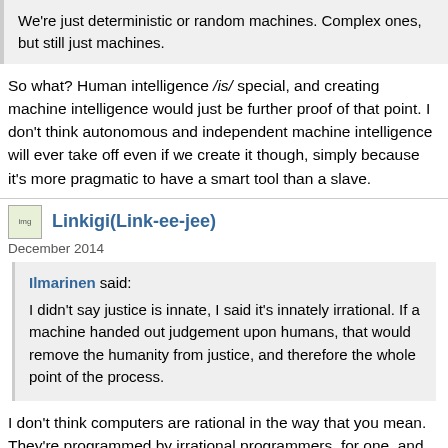We're just deterministic or random machines. Complex ones, but still just machines.
So what? Human intelligence /is/ special, and creating machine intelligence would just be further proof of that point. I don't think autonomous and independent machine intelligence will ever take off even if we create it though, simply because it's more pragmatic to have a smart tool than a slave.
Linkigi(Link-ee-jee)
December 2014
Ilmarinen said: I didn't say justice is innate, I said it's innately irrational. If a machine handed out judgement upon humans, that would remove the humanity from justice, and therefore the whole point of the process.
I don't think computers are rational in the way that you mean. They're programmed by irrational programmers, for one, and any program complex